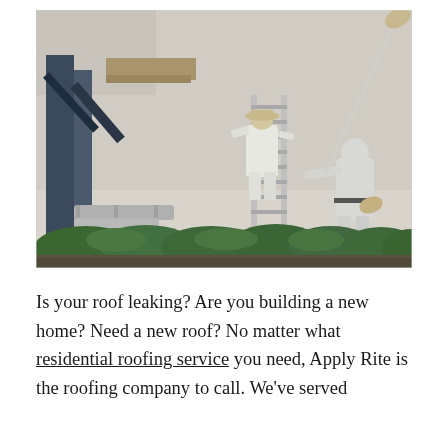[Figure (photo): Two workers in white protective gear painting or coating the exterior wall of a building. One worker is on a ladder on the left, wearing a hat and painting the corner near a blue structural element. The second worker stands on the right, using a long-handled paint roller to coat a large beige/grey wall. Green shrubs are visible at the base of the building. Paint buckets are on the ground.]
Is your roof leaking? Are you building a new home? Need a new roof? No matter what residential roofing service you need, Apply Rite is the roofing company to call. We've served